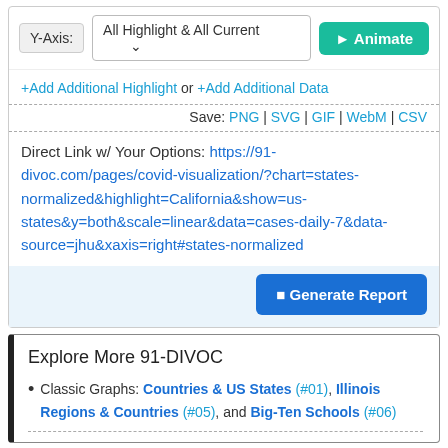Y-Axis: All Highlight & All Current [dropdown] ▶ Animate
+Add Additional Highlight or +Add Additional Data
Save: PNG | SVG | GIF | WebM | CSV
Direct Link w/ Your Options: https://91-divoc.com/pages/covid-visualization/?chart=states-normalized&highlight=California&show=us-states&y=both&scale=linear&data=cases-daily-7&data-source=jhu&xaxis=right#states-normalized
⬛ Generate Report
Explore More 91-DIVOC
Classic Graphs: Countries & US States (#01), Illinois Regions & Countries (#05), and Big-Ten Schools (#06)